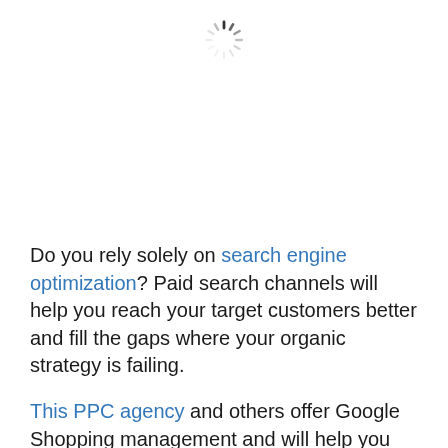[Figure (other): A loading spinner icon (circular dashed/spoked loading indicator) centered near the top of the page]
Do you rely solely on search engine optimization? Paid search channels will help you reach your target customers better and fill the gaps where your organic strategy is failing.

This PPC agency and others offer Google Shopping management and will help you take your eCommerce business to the next level.